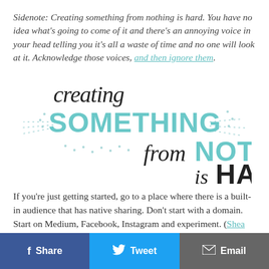Sidenote: Creating something from nothing is hard. You have no idea what's going to come of it and there's an annoying voice in your head telling you it's all a waste of time and no one will look at it. Acknowledge those voices, and then ignore them.
[Figure (illustration): Hand-lettered typographic illustration reading 'creating SOMETHING from NOTHING is HARD' in mixed script and block lettering with teal/mint and black colors, on a white background with dotted decorative lines]
If you're just getting started, go to a place where there is a built-in audience that has native sharing. Don't start with a domain. Start on Medium, Facebook, Instagram and experiment. (Shea Butter grew his audience on Instagram
Share   Tweet   Email